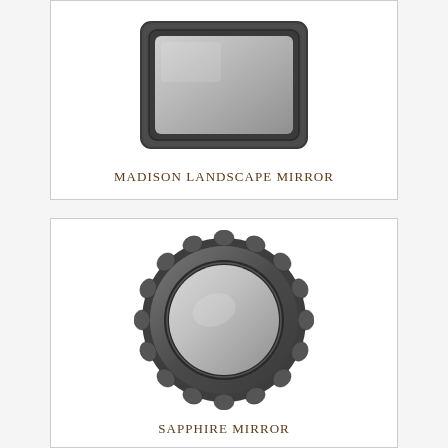[Figure (photo): Madison Landscape Mirror product photo - rectangular mirror with dark grey/charcoal wood frame with rounded corners]
MADISON LANDSCAPE MIRROR
[Figure (photo): Sapphire Mirror product photo - round mirror with dark faceted/scalloped decorative frame resembling a gear or bottle cap shape]
SAPPHIRE MIRROR